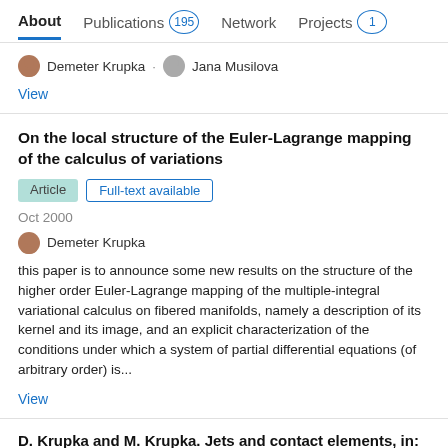About  Publications 195  Network  Projects 1
Demeter Krupka · Jana Musilova
View
On the local structure of the Euler-Lagrange mapping of the calculus of variations
Article  Full-text available
Oct 2000
Demeter Krupka
this paper is to announce some new results on the structure of the higher order Euler-Lagrange mapping of the multiple-integral variational calculus on fibered manifolds, namely a description of its kernel and its image, and an explicit characterization of the conditions under which a system of partial differential equations (of arbitrary order) is...
View
D. Krupka and M. Krupka. Jets and contact elements, in: